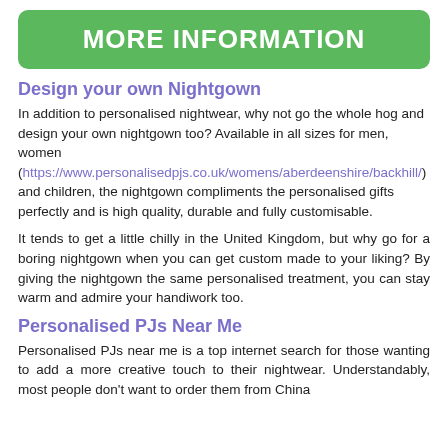MORE INFORMATION
Design your own Nightgown
In addition to personalised nightwear, why not go the whole hog and design your own nightgown too? Available in all sizes for men, women (https://www.personalisedpjs.co.uk/womens/aberdeenshire/backhill/) and children, the nightgown compliments the personalised gifts perfectly and is high quality, durable and fully customisable.
It tends to get a little chilly in the United Kingdom, but why go for a boring nightgown when you can get custom made to your liking? By giving the nightgown the same personalised treatment, you can stay warm and admire your handiwork too.
Personalised PJs Near Me
Personalised PJs near me is a top internet search for those wanting to add a more creative touch to their nightwear. Understandably, most people don't want to order them from China